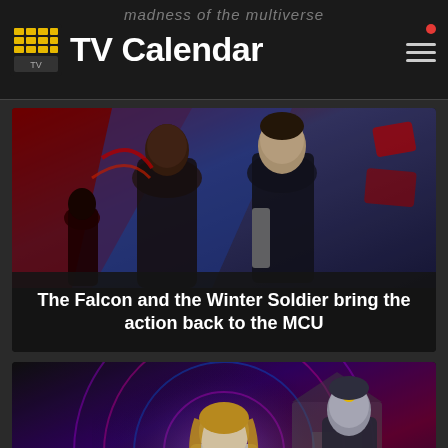TV Calendar | madness of the multiverse
[Figure (photo): The Falcon and the Winter Soldier promotional image with two heroes standing back to back against a red and blue background]
The Falcon and the Winter Soldier bring the action back to the MCU
[Figure (photo): WandaVision promotional image showing Wanda and Vision against a colorful psychedelic background]
Wandavision - Marvel's REAL first TV show starts today on Disney+